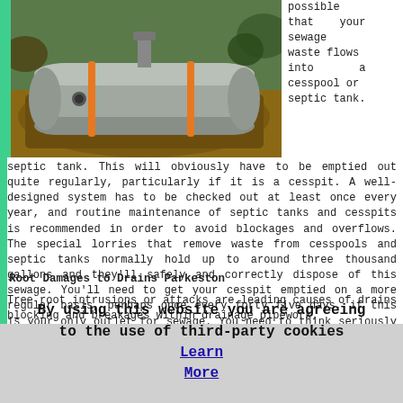[Figure (photo): Septic tank being installed in the ground, grey cylindrical tank with orange straps in excavated earth]
possible that your sewage waste flows into a cesspool or septic tank. This will obviously have to be emptied out quite regularly, particularly if it is a cesspit. A well-designed system has to be checked out at least once every year, and routine maintenance of septic tanks and cesspits is recommended in order to avoid blockages and overflows. The special lorries that remove waste from cesspools and septic tanks normally hold up to around three thousand gallons and they'll safely and correctly dispose of this sewage. You'll need to get your cesspit emptied on a more regular basis, perhaps once every forty five days, if this is your only outlet for sewage. You need to think seriously about this before buying a home that relies on a cesspit, because this constant emptying will be quite costly.
Root Damages to Drains Parkeston
Tree root intrusions or attacks are leading causes of drains blocking and breakages within drainage pipework.
By using this website you are agreeing to the use of third-party cookies Learn More  OK